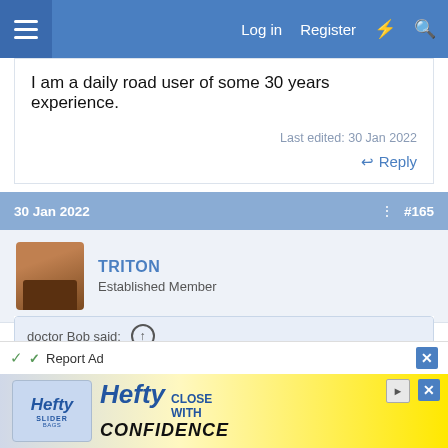Log in  Register
I am a daily road user of some 30 years experience.
Last edited: 30 Jan 2022
Reply
30 Jan 2022  #165
TRITON
Established Member
doctor Bob said: ↑
Yes, indeed, I am now wearing my tin foil helmet.
You and the cat 😉
[Figure (screenshot): Hefty Slider Bags advertisement banner with 'HEFTY CLOSE WITH CONFIDENCE' text on yellow background]